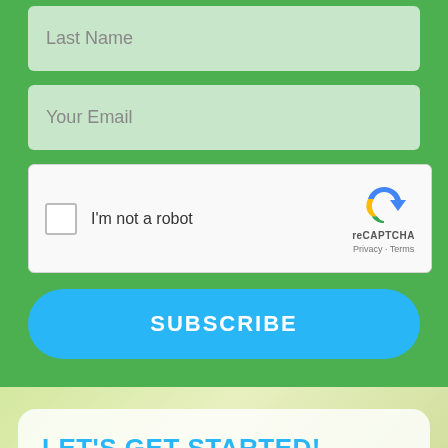Last Name
Your Email
[Figure (other): reCAPTCHA widget with checkbox labeled 'I'm not a robot', reCAPTCHA logo and Privacy/Terms links]
SUBSCRIBE
LET'S GET STARTED!
We'd love to get to know you. Together, we can begin